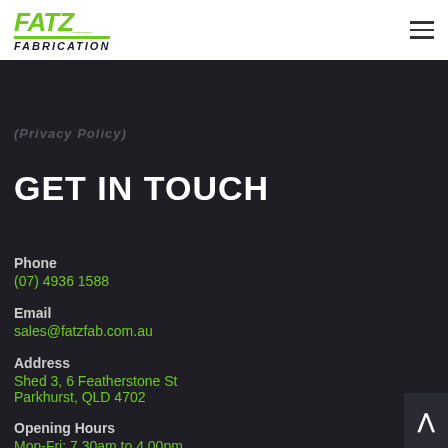[Figure (logo): Fatz Fabrication logo — green italic bold text 'FATZ' with underline and 'FABRICATION' below in dark italic]
(Privacy Policy)
GET IN TOUCH
Phone
(07) 4936 1588
Email
sales@fatzfab.com.au
Address
Shed 3, 6 Featherstone St
Parkhurst, QLD 4702
Opening Hours
Mon-Fri: 7.30am to 4.00pm
Sat-Sun: Closed